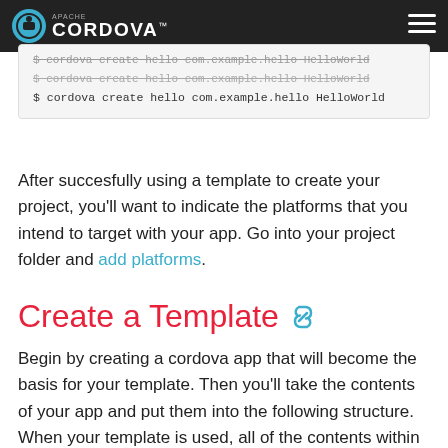Apache CORDOVA™
$ cordova create hello com.example.hello HelloWorld
$ cordova create hello com.example.hello HelloWorld
$ cordova create hello com.example.hello HelloWorld
After succesfully using a template to create your project, you'll want to indicate the platforms that you intend to target with your app. Go into your project folder and add platforms.
Create a Template
Begin by creating a cordova app that will become the basis for your template. Then you'll take the contents of your app and put them into the following structure. When your template is used, all of the contents within template_src will be used to create the new project, so be sure to include any necessary files in that folder. Reference this example for details.